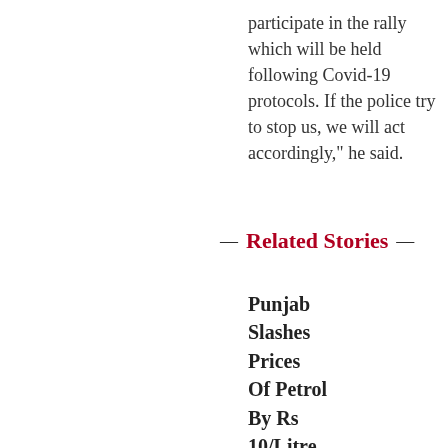participate in the rally which will be held following Covid-19 protocols. If the police try to stop us, we will act accordingly," he said.
— Related Stories —
Punjab Slashes Prices Of Petrol By Rs 10/Litre And Diesel By Rs 5/ Litre